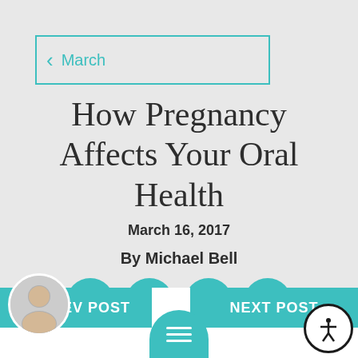March
How Pregnancy Affects Your Oral Health
March 16, 2017
By Michael Bell
[Figure (infographic): Social media share icons: Facebook, Twitter, Pinterest, LinkedIn — teal circular buttons]
PREV POST | NEXT POST